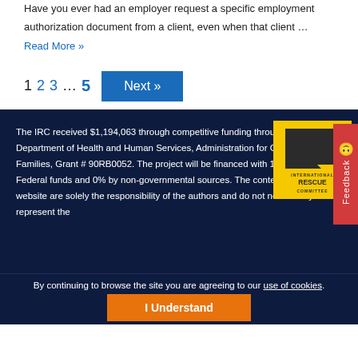Have you ever had an employer request a specific employment authorization document from a client, even when that client …
Read More »
1 2 3 … 5   Next »
The IRC received $1,194,063 through competitive funding through the U.S. Department of Health and Human Services, Administration for Children and Families, Grant # 90RB0052. The project will be financed with 100% of Federal funds and 0% by non-governmental sources. The contents of this website are solely the responsibility of the authors and do not necessarily represent the
[Figure (logo): International Rescue Committee logo - yellow background with dark arrow/chevron shape and text 'INTERNATIONAL RESCUE COMMITTEE']
By continuing to browse the site you are agreeing to our use of cookies.
I Understand